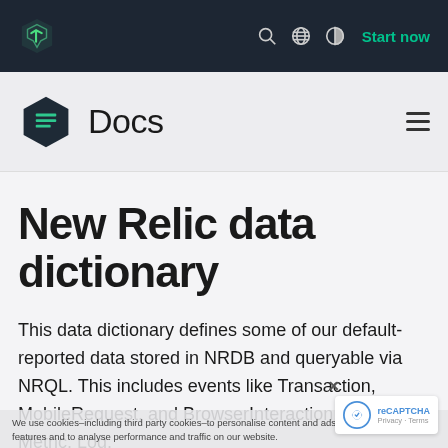[Figure (logo): New Relic logo in top navigation bar - dark background with green angular bracket logo, search icon, globe icon, contrast icon, and 'Start now' green text button]
[Figure (logo): New Relic Docs logo - dark hexagon with green document icon, followed by 'Docs' text in large sans-serif font, hamburger menu icon on right]
New Relic data dictionary
This data dictionary defines some of our default-reported data stored in NRDB and queryable via NRQL. This includes events like Transaction, MobileRequest, and BrowserInteraction, and our Metric, Log,